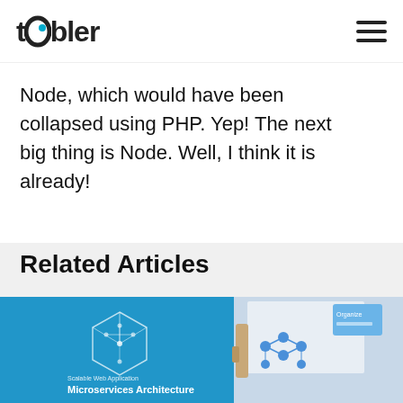toobler
Node, which would have been collapsed using PHP. Yep! The next big thing is Node. Well, I think it is already!
Related Articles
[Figure (photo): Article thumbnail image split into two parts: left showing a blue background with a 3D microservices architecture diagram and text 'Scalable Web Application Microservices Architecture'; right showing a hand pointing at a whiteboard with blue dot diagrams]